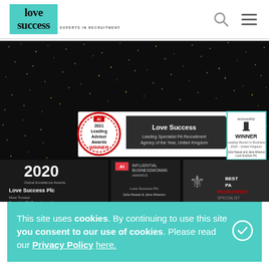[Figure (logo): Love Success Experts in Recruitment logo on teal background]
[Figure (photo): Award images collage on dark sparkly background showing AI 2021 Leading Adviser Awards WINNER for Love Success Leading Specialist PA Recruitment Agency of the Year United Kingdom, 2020 Global Excellence Awards Love Success Plc Most Trusted Specialist PA Recruitment Agency London 2020, AI Influential Businesswoman Awards, econouthly WINNER Leading Women in Business 2019 United Kingdom Julia Haaste and Jane Atherton Love Success Plc, Best PA Recruitment Specialist award]
This site uses cookies. By continuing to use this site you consent to our use of cookies. Please read our Privacy Policy here.